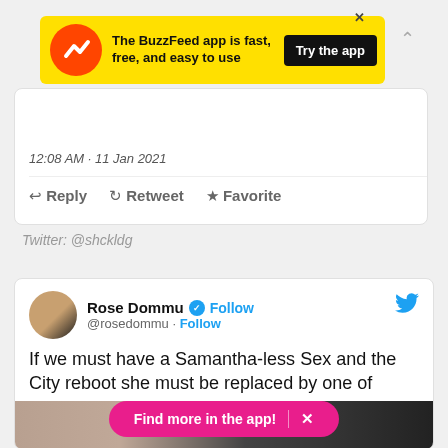[Figure (screenshot): BuzzFeed app advertisement banner with yellow background, red circular logo with white arrow, text 'The BuzzFeed app is fast, free, and easy to use' and a dark 'Try the app' button]
[Figure (screenshot): Partial Twitter/tweet card showing timestamp '12:08 AM · 11 Jan 2021' and action buttons Reply, Retweet, Favorite]
Twitter: @shckldg
[Figure (screenshot): Tweet by Rose Dommu (@rosedommu) with blue verified checkmark and Follow button. Tweet text: 'If we must have a Samantha-less Sex and the City reboot she must be replaced by one of these women'. Pink 'Find more in the app!' CTA overlay at bottom.]